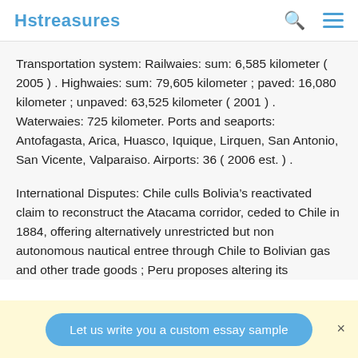Hstreasures
Transportation system: Railwaies: sum: 6,585 kilometer ( 2005 ) . Highwaies: sum: 79,605 kilometer ; paved: 16,080 kilometer ; unpaved: 63,525 kilometer ( 2001 ) . Waterwaies: 725 kilometer. Ports and seaports: Antofagasta, Arica, Huasco, Iquique, Lirquen, San Antonio, San Vicente, Valparaiso. Airports: 36 ( 2006 est. ) .
International Disputes: Chile culls Bolivia’s reactivated claim to reconstruct the Atacama corridor, ceded to Chile in 1884, offering alternatively unrestricted but non autonomous nautical entree through Chile to Bolivian gas and other trade goods ; Peru proposes altering its
Let us write you a custom essay sample